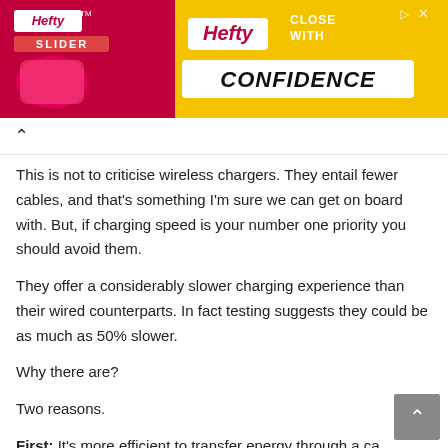[Figure (photo): Hefty Slider bag advertisement banner. Pink/red left side with Hefty Slider logo and product image, yellow right side with 'Hefty CLOSE WITH CONFIDENCE' text.]
This is not to criticise wireless chargers. They entail fewer cables, and that's something I'm sure we can get on board with. But, if charging speed is your number one priority you should avoid them.
They offer a considerably slower charging experience than their wired counterparts. In fact testing suggests they could be as much as 50% slower.
Why there are?
Two reasons.
First: It's more efficient to transfer energy through a cable than via simple contact.